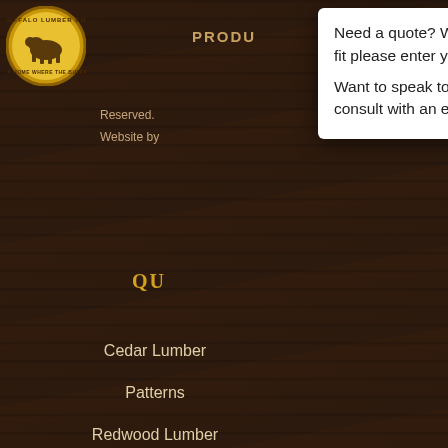[Figure (logo): Buffalo Lumber Co. circular logo with bison illustration]
PRODU…
Reserved.
Website by
QU…
Cedar Lumber
Patterns
Redwood Lumber
Wood Paneling
Need a quote? We are made-to-order with a 2-8 week lead time and a $5000 order minimum. If this sounds like a good fit please enter your project details for a free consult.
Want to speak to a real human? Email us at sales@buffalolumber.com or give us a call at 877-960-9663 for a free consult with an expert (business hours are Mon - Fri 7:30am - 4:30pm CST).
OUR VALUE STATEMENT
Buffalo Lumber specializes in Milled to Order Pre-Fi… Primed, Painted, or Stained - Cedar Siding, Redwood Siding